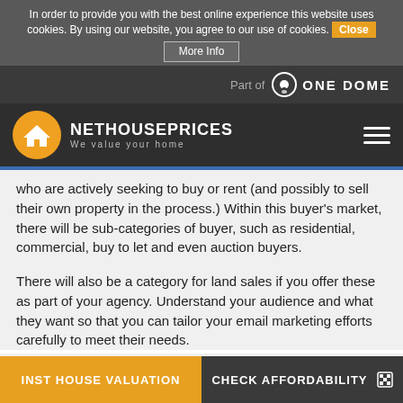In order to provide you with the best online experience this website uses cookies. By using our website, you agree to our use of cookies. Close
More Info
Part of ONE DOME
NETHOUSEPRICES We value your home
who are actively seeking to buy or rent (and possibly to sell their own property in the process.) Within this buyer's market, there will be sub-categories of buyer, such as residential, commercial, buy to let and even auction buyers.
There will also be a category for land sales if you offer these as part of your agency. Understand your audience and what they want so that you can tailor your email marketing efforts carefully to meet their needs.
Sell a vision
INST HOUSE VALUATION
CHECK AFFORDABILITY